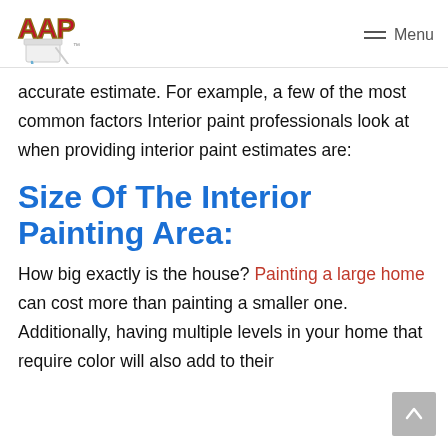AAP logo | Menu
accurate estimate. For example, a few of the most common factors Interior paint professionals look at when providing interior paint estimates are:
Size Of The Interior Painting Area:
How big exactly is the house? Painting a large home can cost more than painting a smaller one. Additionally, having multiple levels in your home that require color will also add to their